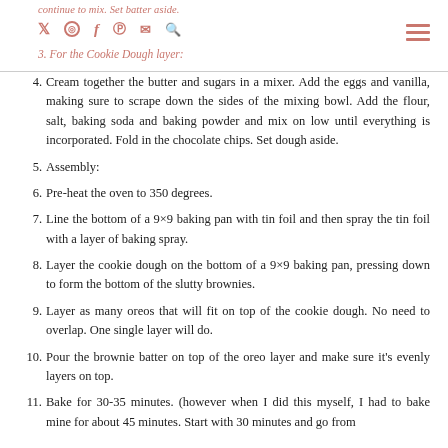continue to mix. Set batter aside. 3. For the Cookie Dough layer:
4. Cream together the butter and sugars in a mixer. Add the eggs and vanilla, making sure to scrape down the sides of the mixing bowl. Add the flour, salt, baking soda and baking powder and mix on low until everything is incorporated. Fold in the chocolate chips. Set dough aside.
5. Assembly:
6. Pre-heat the oven to 350 degrees.
7. Line the bottom of a 9×9 baking pan with tin foil and then spray the tin foil with a layer of baking spray.
8. Layer the cookie dough on the bottom of a 9×9 baking pan, pressing down to form the bottom of the slutty brownies.
9. Layer as many oreos that will fit on top of the cookie dough. No need to overlap. One single layer will do.
10. Pour the brownie batter on top of the oreo layer and make sure it's evenly layers on top.
11. Bake for 30-35 minutes. (however when I did this myself, I had to bake mine for about 45 minutes. Start with 30 minutes and go from